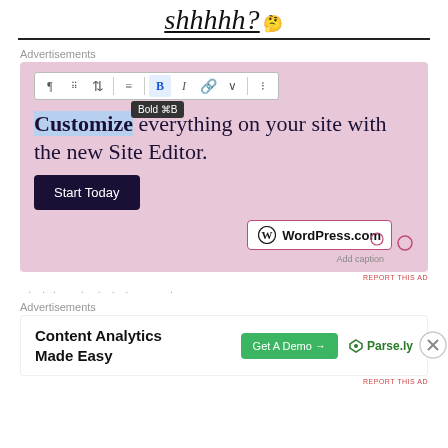shhhhh? 🤔
Advertisements
[Figure (screenshot): WordPress.com advertisement showing a site editor UI with toolbar, bold tooltip, main text 'Customize everything on your site with the new Site Editor.', a 'Start Today' button, and the WordPress.com badge with Add caption and REPORT THIS AD labels.]
REPORT THIS AD
(partial blurred article text)
Advertisements
[Figure (screenshot): Parse.ly advertisement: 'Content Analytics Made Easy' with 'Get A Demo →' green button and Parse.ly logo]
REPORT THIS AD